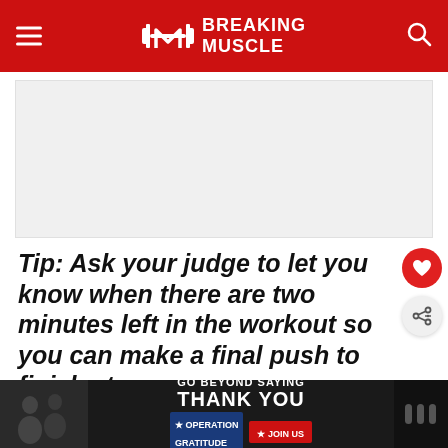Breaking Muscle
[Figure (other): Advertisement placeholder — light gray rectangle]
Tip: Ask your judge to let you know when there are two minutes left in the workout so you can make a final push to finish strong.
WHAT'S NEXT → Bodybuilder Samson...
[Figure (other): Bottom banner advertisement: GO BEYOND SAYING THANK YOU — Operation Gratitude — JOIN US]